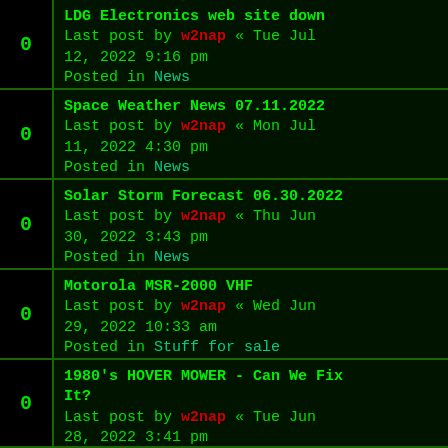LDG Electronics web site down
Last post by w2nap « Tue Jul 12, 2022 9:16 pm
Posted in News
Space Weather News 07.11.2022
Last post by w2nap « Mon Jul 11, 2022 4:30 pm
Posted in News
Solar Storm Forecast 06.30.2022
Last post by w2nap « Thu Jun 30, 2022 3:43 pm
Posted in News
Motorola MSR-2000 VHF
Last post by w2nap « Wed Jun 29, 2022 10:33 am
Posted in Stuff for sale
1980's HOVER MOWER - Can We Fix It?
Last post by w2nap « Tue Jun 28, 2022 3:41 pm
Posted in [cut off]